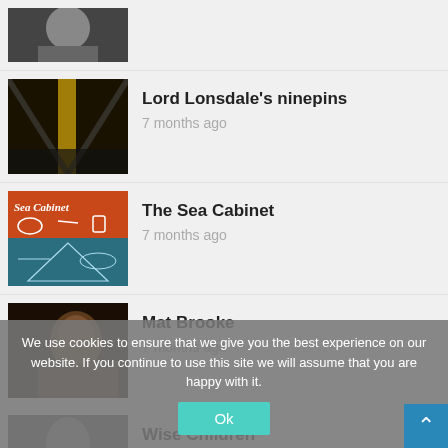[Figure (photo): Partial black and white portrait photo at top]
Lord Lonsdale's ninepins
7 months ago
The Sea Cabinet
7 months ago
Mat Brooke
7 months ago
Wise Children
7 months ago
We use cookies to ensure that we give you the best experience on our website. If you continue to use this site we will assume that you are happy with it.
Ok